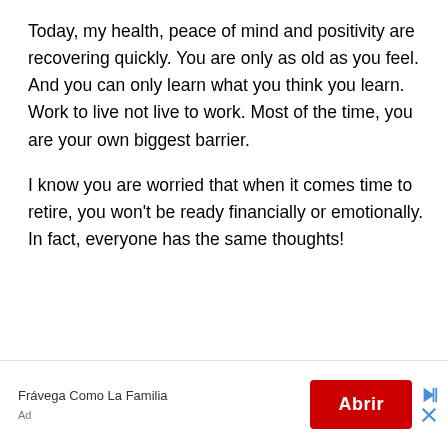Today, my health, peace of mind and positivity are recovering quickly. You are only as old as you feel. And you can only learn what you think you learn. Work to live not live to work. Most of the time, you are your own biggest barrier.
I know you are worried that when it comes time to retire, you won't be ready financially or emotionally. In fact, everyone has the same thoughts!
[Figure (infographic): Advertisement banner: Frávega Como La Familia with red Abrir button and play/close controls]